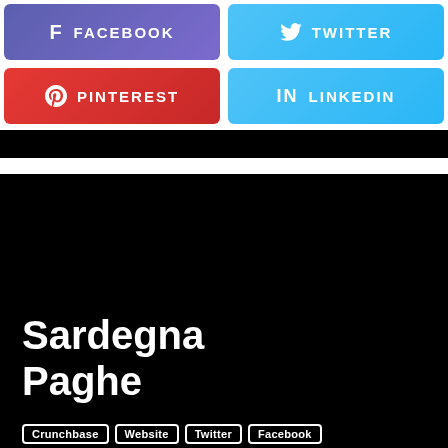[Figure (screenshot): Four social media share buttons: Facebook (purple-blue), Twitter (light blue), Pinterest (red), LinkedIn (light blue), arranged in a 2x2 grid]
[Figure (screenshot): Black card/banner with bold white title 'Sardegna Paghe' and tag links: Crunchbase, Website, Twitter, Facebook]